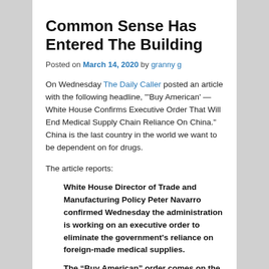Common Sense Has Entered The Building
Posted on March 14, 2020 by granny g
On Wednesday The Daily Caller posted an article with the following headline, "'Buy American' — White House Confirms Executive Order That Will End Medical Supply Chain Reliance On China." China is the last country in the world we want to be dependent on for drugs.
The article reports:
White House Director of Trade and Manufacturing Policy Peter Navarro confirmed Wednesday the administration is working on an executive order to eliminate the government’s reliance on foreign-made medical supplies.
The “Buy American” order comes on the heels